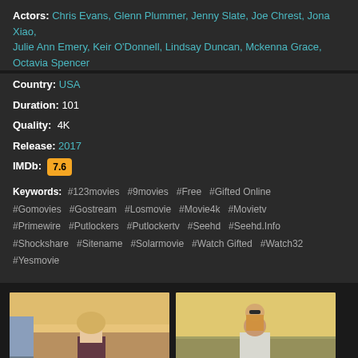Actors: Chris Evans, Glenn Plummer, Jenny Slate, Joe Chrest, Jona Xiao, Julie Ann Emery, Keir O'Donnell, Lindsay Duncan, Mckenna Grace, Octavia Spencer
Country: USA
Duration: 101
Quality: 4K
Release: 2017
IMDb: 7.6
Keywords: #123movies #9movies #Free #Gifted Online #Gomovies #Gostream #Losmovie #Movie4k #Movietv #Primewire #Putlockers #Putlockertv #Seehd #Seehd.Info #Shockshare #Sitename #Solarmovie #Watch Gifted #Watch32 #Yesmovie
[Figure (photo): Movie still: a young blonde girl holding hands with an adult on a beach at golden hour]
[Figure (photo): Movie still: a man carrying a child on his shoulders, standing outdoors at golden hour]